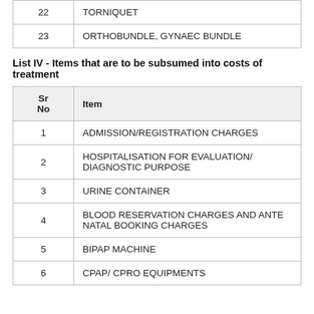| Sr No | Item |
| --- | --- |
| 22 | TORNIQUET |
| 23 | ORTHOBUNDLE, GYNAEC BUNDLE |
List IV - Items that are to be subsumed into costs of treatment
| Sr No | Item |
| --- | --- |
| 1 | ADMISSION/REGISTRATION CHARGES |
| 2 | HOSPITALISATION FOR EVALUATION/ DIAGNOSTIC PURPOSE |
| 3 | URINE CONTAINER |
| 4 | BLOOD RESERVATION CHARGES AND ANTE NATAL BOOKING CHARGES |
| 5 | BIPAP MACHINE |
| 6 | CPAP/ CPRO EQUIPMENTS |